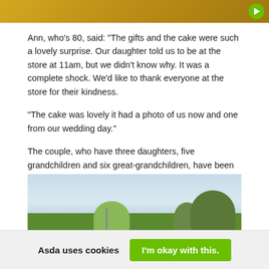[Figure (photo): Top portion of an image showing a yellow/golden surface, partially cropped, with a green circular play button in the top right corner.]
Ann, who's 80, said: "The gifts and the cake were such a lovely surprise. Our daughter told us to be at the store at 11am, but we didn't know why. It was a complete shock. We'd like to thank everyone at the store for their kindness.
"The cake was lovely it had a photo of us now and one from our wedding day."
The couple, who have three daughters, five grandchildren and six great-grandchildren, have been shopping at the Spondon store since it first opened.
[Figure (photo): Exterior photo of what appears to be an Asda supermarket with a car park in the foreground, trees on the right, and a light blue sky.]
Asda uses cookies
I'm okay with this.